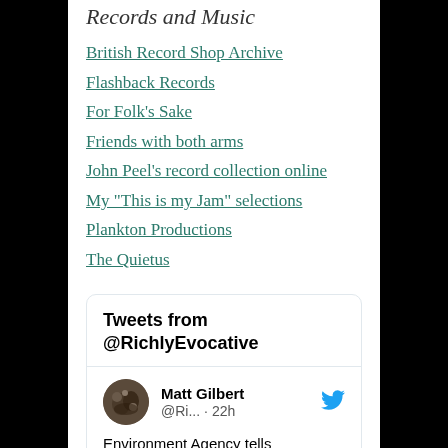Records and Music
British Record Shop Archive
Flashback Records
For Folk's Sake
Friends with both arms
John Peel's record collection online
My "This is my Jam" selections
Plankton Productions
The Quietus
[Figure (screenshot): Embedded Twitter widget showing 'Tweets from @RichlyEvocative' header, followed by a tweet from Matt Gilbert (@Ri... · 22h) with text 'Environment Agency tells' and a Twitter bird icon. Avatar shows a nature/tree image.]